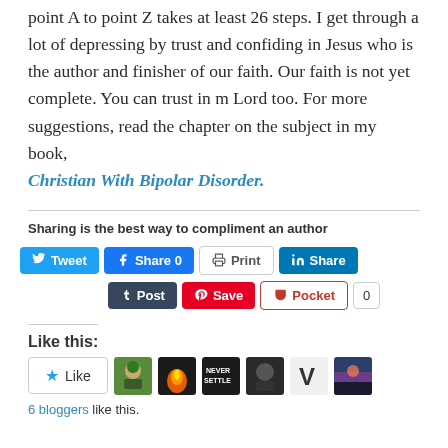point A to point Z takes at least 26 steps. I get through a lot of depressing by trust and confiding in Jesus who is the author and finisher of our faith. Our faith is not yet complete. You can trust in m Lord too. For more suggestions, read the chapter on the subject in my book, Christian With Bipolar Disorder.
Sharing is the best way to compliment an author
[Figure (screenshot): Social sharing buttons: Tweet, Share 0 (Facebook), Print, Share (LinkedIn) on first row; Post (Tumblr), Save (Pinterest), Pocket with count 0 on second row]
Like this:
[Figure (screenshot): Like button and 6 blogger avatars]
6 bloggers like this.